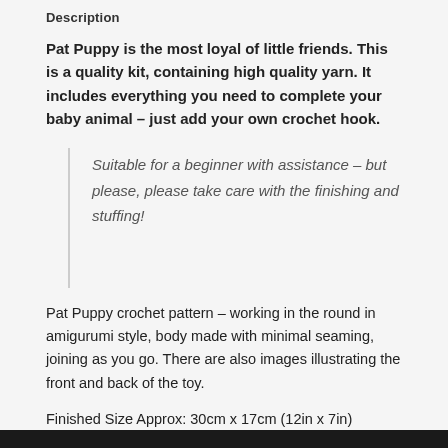Description
Pat Puppy is the most loyal of little friends. This is a quality kit, containing high quality yarn. It includes everything you need to complete your baby animal – just add your own crochet hook.
Suitable for a beginner with assistance – but please, please take care with the finishing and stuffing!
Pat Puppy crochet pattern – working in the round in amigurumi style, body made with minimal seaming, joining as you go. There are also images illustrating the front and back of the toy.
Finished Size Approx: 30cm x 17cm (12in x 7in)